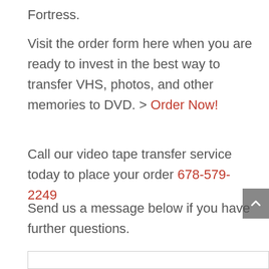Fortress.
Visit the order form here when you are ready to invest in the best way to transfer VHS, photos, and other memories to DVD. > Order Now!
Call our video tape transfer service today to place your order 678-579-2249
Send us a message below if you have further questions.